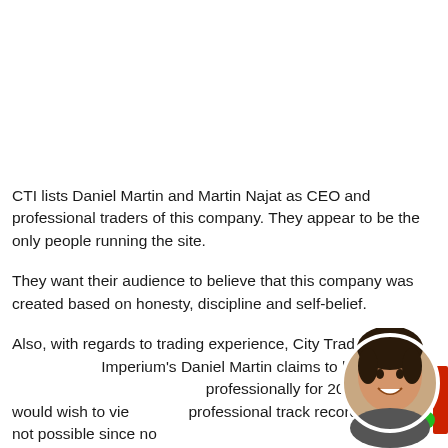CTI lists Daniel Martin and Martin Najat as CEO and professional traders of this company. They appear to be the only people running the site.
They want their audience to believe that this company was created based on honesty, discipline and self-belief.
Also, with regards to trading experience, City Trading Imperium's Daniel Martin claims to have traded professionally for 20 years. We would wish to view his professional track record but this is not possible since no
[Figure (photo): Circular avatar photo of a smiling woman with short dark hair, partially overlapping the third paragraph text at bottom right. Red button UI element and green dot visible beside the avatar.]